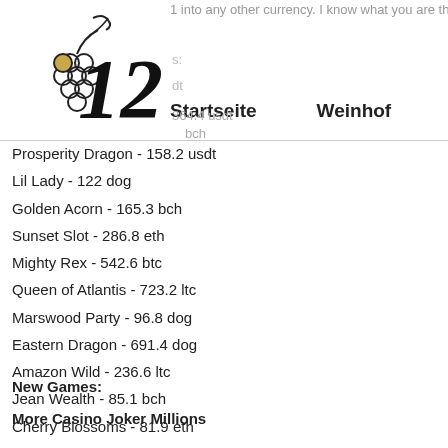1 into any other currency. I know what you are th
[Figure (logo): Casino logo with grapes and number 12 in stylized black script with a snake]
s:
dt    Startseite    Weinhof
364.4 usdt
bch
Prosperity Dragon - 158.2 usdt
Lil Lady - 122 dog
Golden Acorn - 165.3 bch
Sunset Slot - 286.8 eth
Mighty Rex - 542.6 btc
Queen of Atlantis - 723.2 ltc
Marswood Party - 96.8 dog
Eastern Dragon - 691.4 dog
Amazon Wild - 236.6 ltc
Jean Wealth - 85.1 bch
Cherry Blossoms - 81.9 eth
Star Jewels - 333.5 dog
New Games:
More Casino Joker Millions